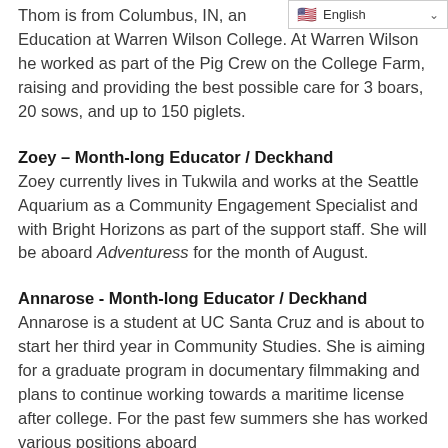Thom is from Columbus, IN, and studied Environmental Education at Warren Wilson College. At Warren Wilson he worked as part of the Pig Crew on the College Farm, raising and providing the best possible care for 3 boars, 20 sows, and up to 150 piglets.
Zoey – Month-long Educator / Deckhand
Zoey currently lives in Tukwila and works at the Seattle Aquarium as a Community Engagement Specialist and with Bright Horizons as part of the support staff. She will be aboard Adventuress for the month of August.
Annarose - Month-long Educator / Deckhand
Annarose is a student at UC Santa Cruz and is about to start her third year in Community Studies. She is aiming for a graduate program in documentary filmmaking and plans to continue working towards a maritime license after college. For the past few summers she has worked various positions aboard